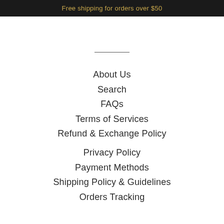Free shipping for orders over $50
About Us
Search
FAQs
Terms of Services
Refund & Exchange Policy
Privacy Policy
Payment Methods
Shipping Policy & Guidelines
Orders Tracking